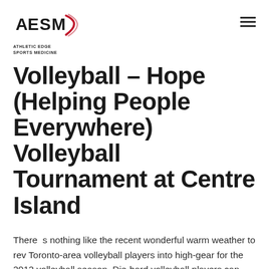[Figure (logo): AESM Athletic Edge Sports Medicine logo with stylized red swoosh and text]
Volleyball – Hope (Helping People Everywhere) Volleyball Tournament at Centre Island
There  s nothing like the recent wonderful warm weather to rev Toronto-area volleyball players into high-gear for the 2012 volleyball season. Die-hard volleyball players can already be seen serving, bumping and spiking at popular area beaches like Kew Beach.
Volleyball is one of Canada...